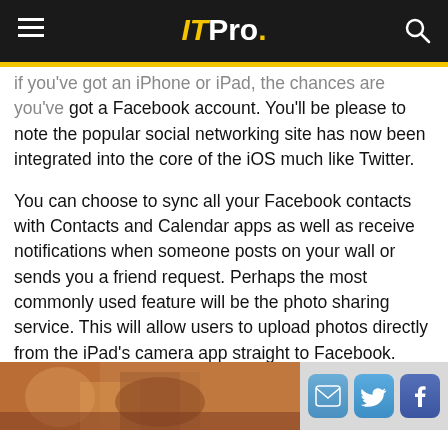ITPro.
if you've got an iPhone or iPad, the chances are you've got a Facebook account. You'll be please to note the popular social networking site has now been integrated into the core of the iOS much like Twitter.
You can choose to sync all your Facebook contacts with Contacts and Calendar apps as well as receive notifications when someone posts on your wall or sends you a friend request. Perhaps the most commonly used feature will be the photo sharing service. This will allow users to upload photos directly from the iPad's camera app straight to Facebook.
[Figure (photo): Bottom strip showing a photo on the left side and social sharing icons (email, Twitter, Facebook) on the right side]